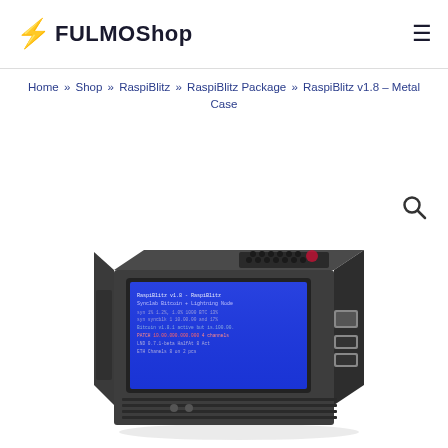FULMOShop
Home » Shop » RaspiBlitz » RaspiBlitz Package » RaspiBlitz v1.8 – Metal Case
[Figure (photo): Photo of RaspiBlitz v1.8 metal case device — a dark grey/black compact box with an angled blue LCD screen showing Bitcoin Lightning Node status text, ventilation grille on top, Raspberry Pi logo, USB ports and Ethernet port on the right side, and ventilation slots on the front and sides.]